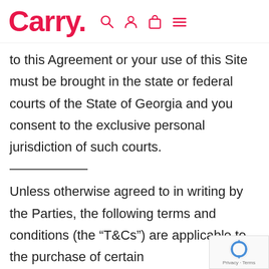Carry.
to this Agreement or your use of this Site must be brought in the state or federal courts of the State of Georgia and you consent to the exclusive personal jurisdiction of such courts.
Unless otherwise agreed to in writing by the Parties, the following terms and conditions (the “T&Cs”) are applicable to the purchase of certain